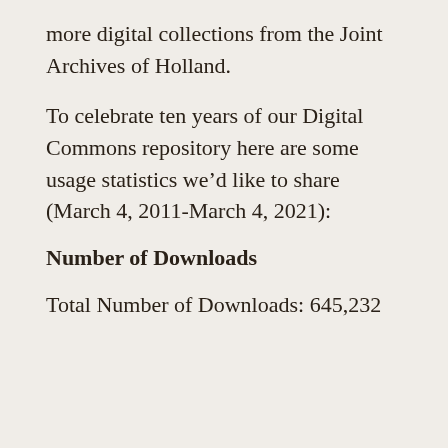more digital collections from the Joint Archives of Holland.
To celebrate ten years of our Digital Commons repository here are some usage statistics we’d like to share (March 4, 2011-March 4, 2021):
Number of Downloads
Total Number of Downloads: 645,232